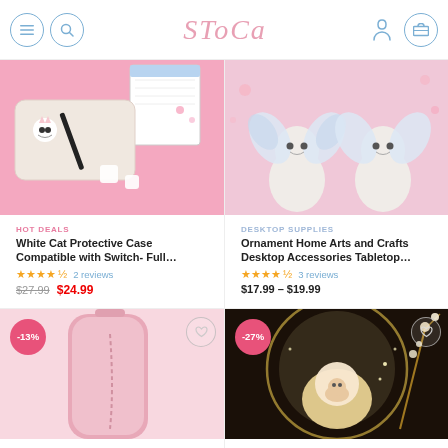STOCA — navigation header with menu, search, user, and cart icons
[Figure (photo): White Cat Protective Case product photo on pink background with notebook]
HOT DEALS
White Cat Protective Case Compatible with Switch- Full…
★★★★½ 2 reviews
$27.99  $24.99
[Figure (photo): Two white cat figurines with butterfly wings on pink background — desktop ornament]
DESKTOP SUPPLIES
Ornament Home Arts and Crafts Desktop Accessories Tabletop…
★★★★½ 3 reviews
$17.99 – $19.99
[Figure (photo): Pink travel case product photo, partially visible, -13% discount badge]
[Figure (photo): LED lamp with floral decor on dark background, partially visible, -27% discount badge]